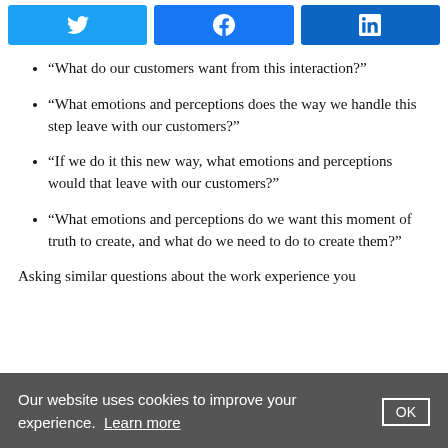[Figure (other): Social share bar with Twitter, Facebook, and LinkedIn buttons]
“What do our customers want from this interaction?”
“What emotions and perceptions does the way we handle this step leave with our customers?”
“If we do it this new way, what emotions and perceptions would that leave with our customers?”
“What emotions and perceptions do we want this moment of truth to create, and what do we need to do to create them?”
Asking similar questions about the work experience you
Our website uses cookies to improve your experience. Learn more